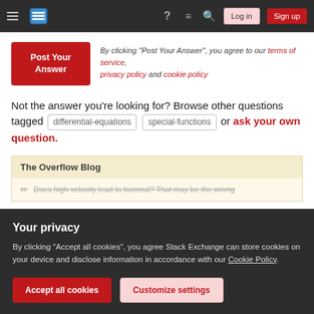Stack Exchange navigation bar with Log in and Sign up buttons
By clicking "Post Your Answer", you agree to our terms of service, privacy policy and cookie policy
Not the answer you're looking for? Browse other questions tagged differential-equations special-functions or ask your own question.
The Overflow Blog
Does high velocity lead to burnout? That may be the wrong...
Your privacy
By clicking "Accept all cookies", you agree Stack Exchange can store cookies on your device and disclose information in accordance with our Cookie Policy.
Accept all cookies  Customize settings